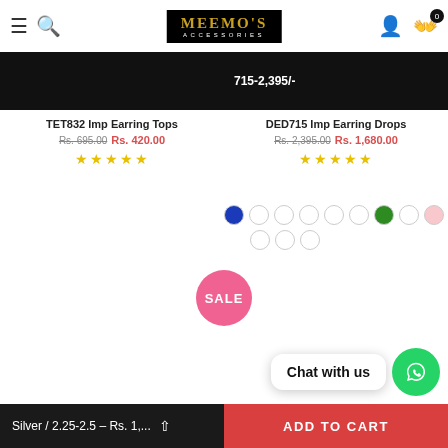Meemo's Accessories — navigation header
[Figure (screenshot): Two product image thumbnails cropped at top: left dark background, right dark with text '715-2,395/-']
TET832 Imp Earring Tops
Rs. 695.00 Rs. 420.00
DED715 Imp Earring Drops
Rs. 2,395.00 Rs. 1,680.00
[Figure (other): Color swatches: blue filled, then multiple empty circles, green filled, light pink filled, three more empty circles]
[Figure (other): Pink circular SALE badge]
Chat with us
Silver / 2.25-2.5 – Rs. 1,...
ADD TO CART